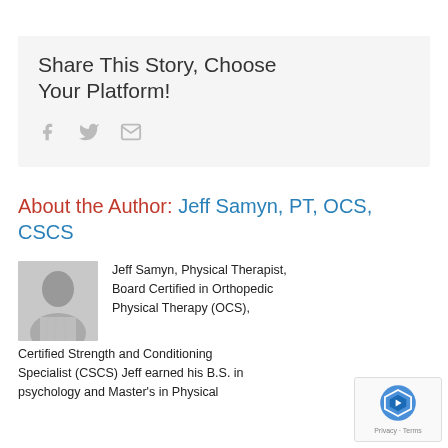Share This Story, Choose Your Platform!
[Figure (infographic): Social share icons: Facebook (f), Twitter (bird), Email (envelope)]
About the Author: Jeff Samyn, PT, OCS, CSCS
[Figure (photo): Black and white headshot photo of Jeff Samyn]
Jeff Samyn, Physical Therapist, Board Certified in Orthopedic Physical Therapy (OCS), Certified Strength and Conditioning Specialist (CSCS) Jeff earned his B.S. in psychology and Master's in Physical